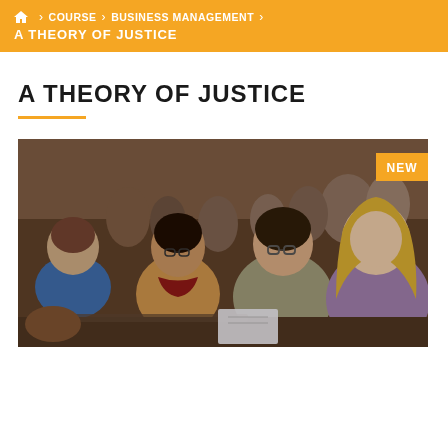🏠 > COURSE > BUSINESS MANAGEMENT > A THEORY OF JUSTICE
A THEORY OF JUSTICE
[Figure (photo): Students sitting in a lecture hall attentively listening, with a 'NEW' badge overlay in the top right corner.]